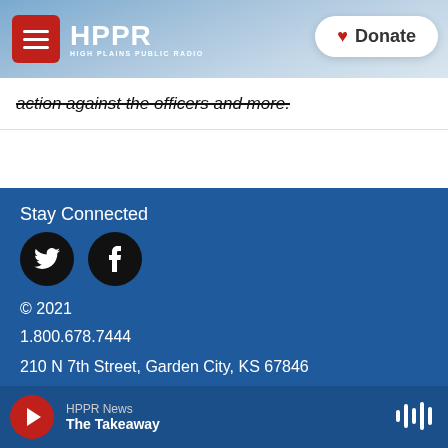HPPR HIGH PLAINS PUBLIC RADIO | Donate
action against the officers and more.
Stay Connected
[Figure (logo): Twitter and Facebook social media icon buttons (black circles with white icons)]
© 2021
1.800.678.7444
210 N 7th Street, Garden City, KS 67846
104 SW 6th Ave, Suite B4, Amarillo, TX 79101
HPPR News | The Takeaway